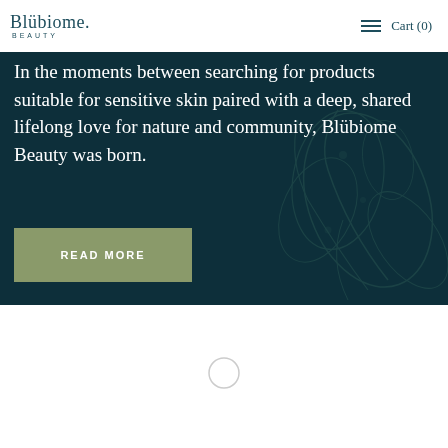Blübiome. BEAUTY  ≡  Cart (0)
In the moments between searching for products suitable for sensitive skin paired with a deep, shared lifelong love for nature and community, Blübiome Beauty was born.
[Figure (other): READ MORE button, olive/sage green rectangle with white uppercase text 'READ MORE']
[Figure (other): Circular loading spinner / empty circle outline in the white section below the dark banner]